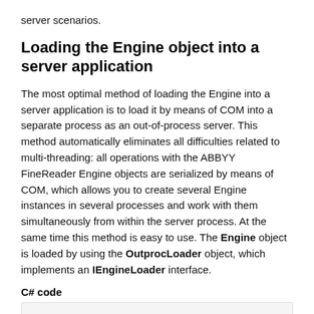server scenarios.
Loading the Engine object into a server application
The most optimal method of loading the Engine into a server application is to load it by means of COM into a separate process as an out-of-process server. This method automatically eliminates all difficulties related to multi-threading: all operations with the ABBYY FineReader Engine objects are serialized by means of COM, which allows you to create several Engine instances in several processes and work with them simultaneously from within the server process. At the same time this method is easy to use. The Engine object is loaded by using the OutprocLoader object, which implements an IEngineLoader interface.
C# code